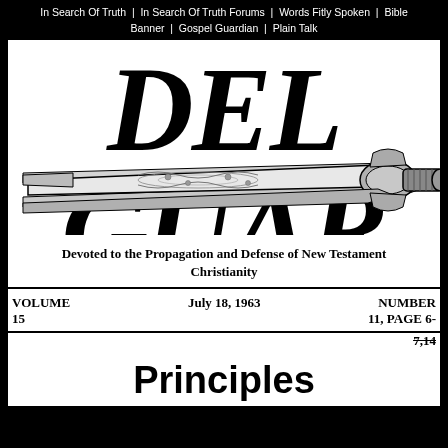In Search Of Truth  |  In Search Of Truth Forums  |  Words Fitly Spoken  |  Bible Banner  |  Gospel Guardian  |  Plain Talk
[Figure (illustration): Masthead of Gospel Guardian publication showing large bold italic text 'DEL GUAR' (partial masthead) in large serif font with a detailed illustration of crossed swords below]
Devoted to the Propagation and Defense of New Testament Christianity
VOLUME 15    July 18, 1963    NUMBER 11, PAGE 6-7,14
Principles